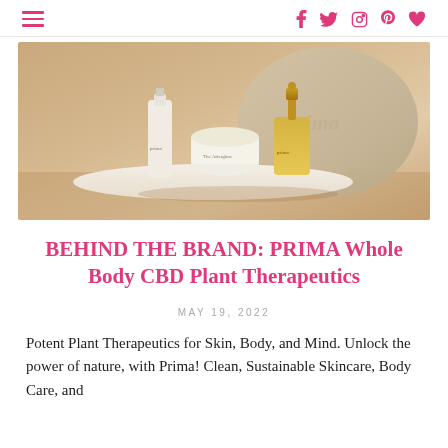≡  f  t  ○  ⊕  ♥
[Figure (photo): Prima skincare product flatlay showing a serum, The Afterglow cream jar, and a dropper oil bottle on a white tray, with a beige Prima-branded pouch behind them, warm sandy background]
BEHIND THE BRAND: PRIMA Whole Body CBD Plant Therapeutics
MAY 19, 2022
Potent Plant Therapeutics for Skin, Body, and Mind. Unlock the power of nature, with Prima! Clean, Sustainable Skincare, Body Care, and